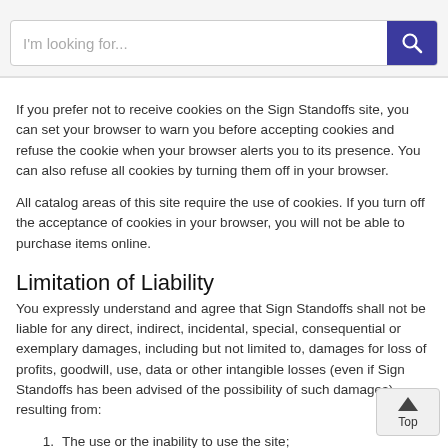If you prefer not to receive cookies on the Sign Standoffs site, you can set your browser to warn you before accepting cookies and refuse the cookie when your browser alerts you to its presence. You can also refuse all cookies by turning them off in your browser.
All catalog areas of this site require the use of cookies. If you turn off the acceptance of cookies in your browser, you will not be able to purchase items online.
Limitation of Liability
You expressly understand and agree that Sign Standoffs shall not be liable for any direct, indirect, incidental, special, consequential or exemplary damages, including but not limited to, damages for loss of profits, goodwill, use, data or other intangible losses (even if Sign Standoffs has been advised of the possibility of such damages), resulting from:
The use or the inability to use the site;
The cost of procurement of substitute goods and services resulting from any goods, data, information or services purchased or obtained or messages received or transactions entered into through or from the site;
Unauthorized access to or alteration of your